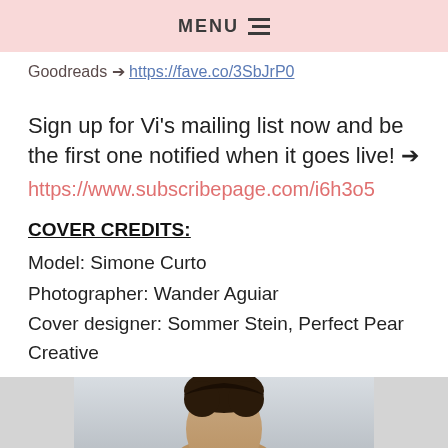MENU ☰
Goodreads → https://fave.co/3SbJrP0
Sign up for Vi's mailing list now and be the first one notified when it goes live! →
https://www.subscribepage.com/i6h3o5
COVER CREDITS:
Model: Simone Curto
Photographer: Wander Aguiar
Cover designer: Sommer Stein, Perfect Pear Creative
[Figure (photo): Partial photo of a male model with dark hair, cropped to show top of head]